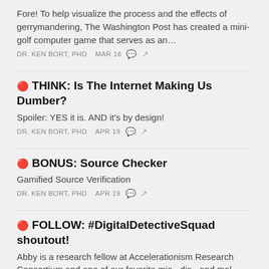Fore! To help visualize the process and the effects of gerrymandering, The Washington Post has created a mini-golf computer game that serves as an…
DR. KEN BORT, PHD   MAR 16
🔴 THINK: Is The Internet Making Us Dumber?
Spoiler: YES it is. AND it's by design!
DR. KEN BORT, PHD   APR 19
🔴 BONUS: Source Checker
Gamified Source Verification
DR. KEN BORT, PHD   APR 19
🔴 FOLLOW: #DigitalDetectiveSquad shoutout!
Abby is a research fellow at Accelerationism Research Consortium and one of our favorite mis-, dis-, and mal-information-busting TikTokers. Her recent…